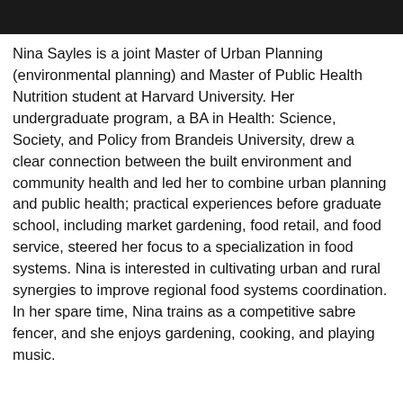[Figure (photo): Dark/black photo bar at the top of the page, likely a cropped portrait image of Nina Sayles]
Nina Sayles is a joint Master of Urban Planning (environmental planning) and Master of Public Health Nutrition student at Harvard University. Her undergraduate program, a BA in Health: Science, Society, and Policy from Brandeis University, drew a clear connection between the built environment and community health and led her to combine urban planning and public health; practical experiences before graduate school, including market gardening, food retail, and food service, steered her focus to a specialization in food systems. Nina is interested in cultivating urban and rural synergies to improve regional food systems coordination. In her spare time, Nina trains as a competitive sabre fencer, and she enjoys gardening, cooking, and playing music.